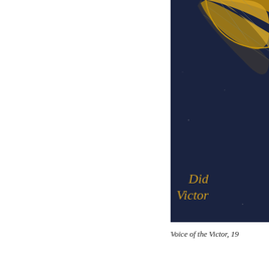[Figure (photo): A partial view of what appears to be a book cover or album cover with a dark navy blue background and a globe or spherical object in the upper portion with yellow/gold coloring. In the lower right area, gold italic text reads 'Did' and 'Victor' (partially visible, text continues off the right edge).]
Voice of the Victor, 19